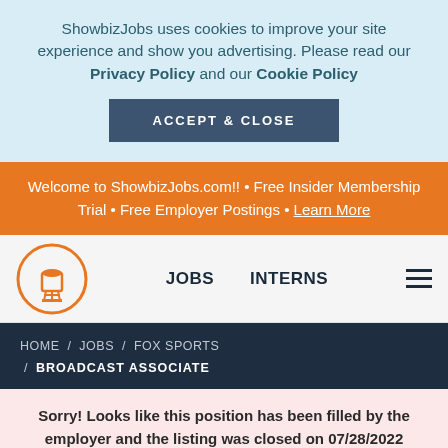ShowbizJobs uses cookies to improve your site experience and show you advertising. Please read our Privacy Policy and our Cookie Policy
ACCEPT & CLOSE
Welcome to ShowbizJobs.com!! • Free Insider Membership Trial • Free Employer Postings • Learn More
[Figure (logo): ShowbizJobs water tower logo in orange circle]
JOBS    INTERNS
HOME / JOBS / FOX SPORTS / BROADCAST ASSOCIATE
Sorry! Looks like this position has been filled by the employer and the listing was closed on 07/28/2022